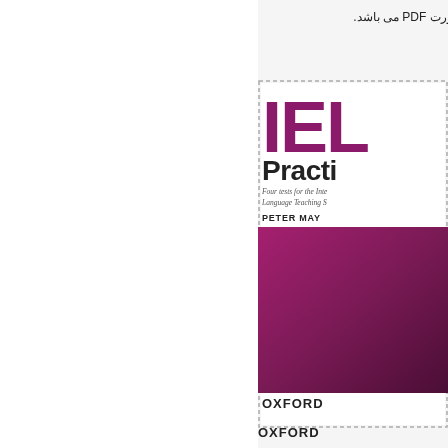mp کتابها بصورت PDF می باشد.
[Figure (illustration): Partial view of IELTS Practice Tests book cover by Peter May, Oxford University Press. Shows large purple 'IEL' letters, 'Practi' subtitle, author name Peter May, magenta/purple gradient cover image, and Oxford logo.]
OXFORD
OXFORD